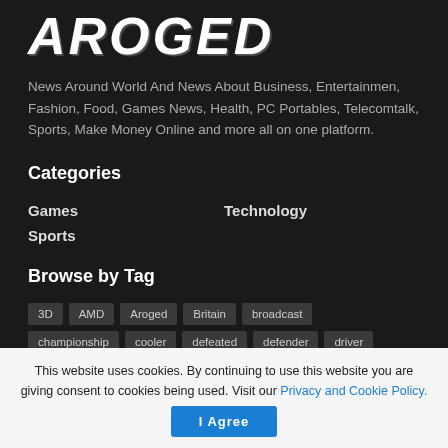AROGED
News Around World And News About Business, Entertainmen, Fashion, Food, Games News, Health, PC Portables, Telecomtalk, Sports, Make Money Online and more all on one platform.
Categories
Games
Technology
Sports
Browse by Tag
3D
AMD
Aroged
Britain
broadcast
championship
cooler
defeated
defender
driver
This website uses cookies. By continuing to use this website you are giving consent to cookies being used. Visit our Privacy and Cookie Policy.